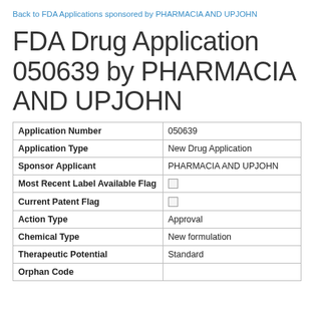Back to FDA Applications sponsored by PHARMACIA AND UPJOHN
FDA Drug Application 050639 by PHARMACIA AND UPJOHN
| Field | Value |
| --- | --- |
| Application Number | 050639 |
| Application Type | New Drug Application |
| Sponsor Applicant | PHARMACIA AND UPJOHN |
| Most Recent Label Available Flag | ☐ |
| Current Patent Flag | ☐ |
| Action Type | Approval |
| Chemical Type | New formulation |
| Therapeutic Potential | Standard |
| Orphan Code |  |